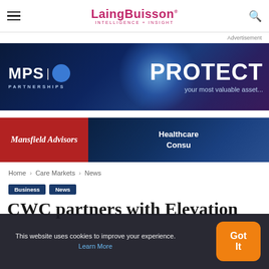LaingBuisson — INTELLIGENCE + INSIGHT
[Figure (illustration): MPS Partnerships advertisement banner: dark navy blue background with blue glow effect. Left side shows 'MPS | [icon] PARTNERSHIPS' logo text in white. Right side shows 'PROTECT your most valuable asset...' in large white text.]
[Figure (illustration): Mansfield Advisors advertisement banner: red tag with 'Mansfield Advisors' italic text on left, dark blue healthcare digital imagery on right with 'Healthcare Consu...' text.]
Home › Care Markets › News
Business
News
CWC partners with Elevation
This website uses cookies to improve your experience. Learn More